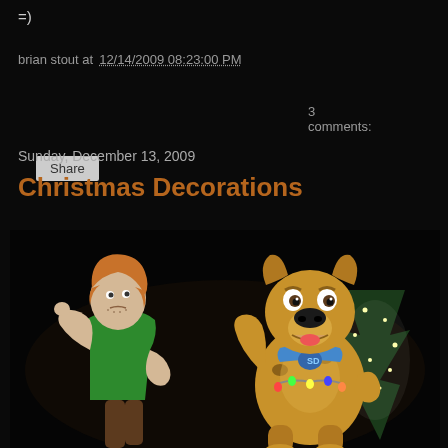=)
brian stout at 12/14/2009 08:23:00 PM   3 comments:
Share
Sunday, December 13, 2009
Christmas Decorations
[Figure (photo): Outdoor Christmas decoration featuring inflatable/cutout Scooby-Doo and Shaggy characters at night, with a lighted Christmas tree in the background]